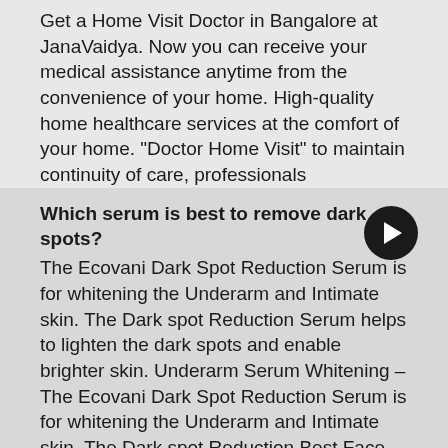Get a Home Visit Doctor in Bangalore at JanaVaidya. Now you can receive your medical assistance anytime from the convenience of your home. High-quality home healthcare services at the comfort of your home. "Doctor Home Visit" to maintain continuity of care, professionals continuously assess the patient's health condition. We provide personalized healthcare at your fingertips. .....
Which serum is best to remove dark spots?
The Ecovani Dark Spot Reduction Serum is for whitening the Underarm and Intimate skin. The Dark spot Reduction Serum helps to lighten the dark spots and enable brighter skin. Underarm Serum Whitening – The Ecovani Dark Spot Reduction Serum is for whitening the Underarm and Intimate skin. The Dark spot Reduction Best Face Serum helps to lighten the dark spots and enable brighter skin. Intimate skin has the requirement for high-quality ingredients that help to make the skin naturally lighter. Buy Online@595 :- https://ecovaniorganics.com/shop/skin-